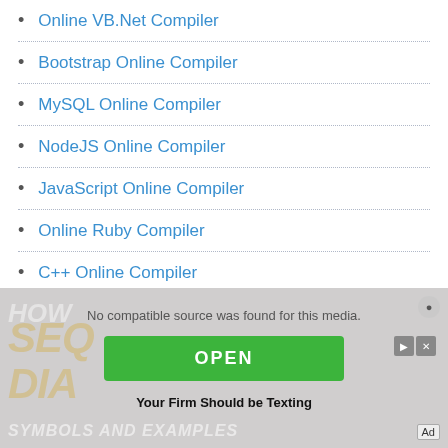Online VB.Net Compiler
Bootstrap Online Compiler
MySQL Online Compiler
NodeJS Online Compiler
JavaScript Online Compiler
Online Ruby Compiler
C++ Online Compiler
[Figure (screenshot): Advertisement banner with green OPEN button, text 'No compatible source was found for this media.', tagline 'Your Firm Should be Texting', background showing partial text about sequence diagrams, with Ad label and close/skip icons.]